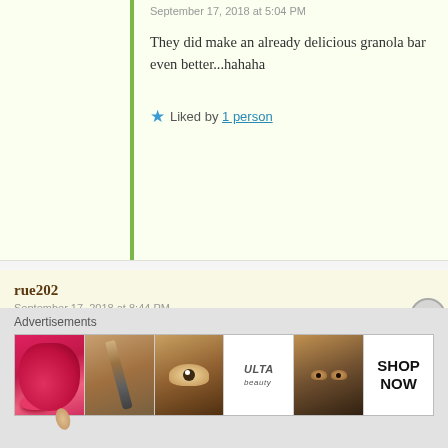September 17, 2018 at 5:04 PM
They did make an already delicious granola bar even better...hahaha
★ Liked by 1 person
rue202
September 17, 2018 at 8:44 PM
LOL!!!
★ Liked by 1 person
tanjabrittonwriter
September 15, 2018 at 10:51 PM
This is right up my alley, Diane. They look amazing!
Advertisements
[Figure (other): Advertisements banner showing beauty product images including lips, makeup brush, eye, ULTA Beauty logo, eyes, and SHOP NOW button]